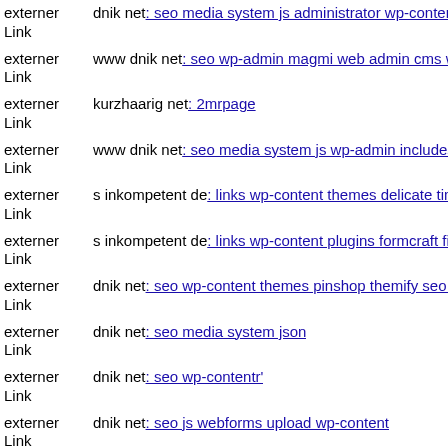externer Link  dnik net: seo media system js administrator wp-content plug
externer Link  www dnik net: seo wp-admin magmi web admin cms wysiv
externer Link  kurzhaarig net: 2mrpage
externer Link  www dnik net: seo media system js wp-admin includes plug
externer Link  s inkompetent de: links wp-content themes delicate timthun
externer Link  s inkompetent de: links wp-content plugins formcraft file-u
externer Link  dnik net: seo wp-content themes pinshop themify seo media
externer Link  dnik net: seo media system json
externer Link  dnik net: seo wp-contentr'
externer Link  dnik net: seo js webforms upload wp-content
externer Link  dnik net: seo media components com b2jcontactwwa
externer Link  ...